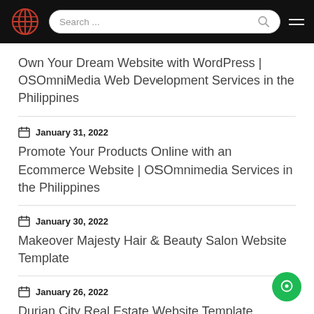OSOmniMedia – Search bar and navigation header
Own Your Dream Website with WordPress | OSOmniMedia Web Development Services in the Philippines
January 31, 2022
Promote Your Products Online with an Ecommerce Website | OSOmnimedia Services in the Philippines
January 30, 2022
Makeover Majesty Hair & Beauty Salon Website Template
January 26, 2022
Durian City Real Estate Website Template